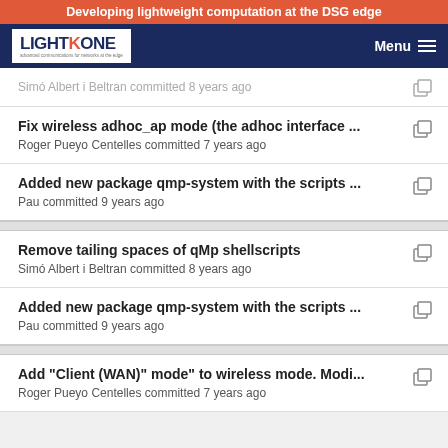Developing lightweight computation at the DSG edge
[Figure (logo): LightKone logo - white box with dark blue text LIGHTKONE and orange K, on dark navy navigation bar with Menu button]
Simó Albert i Beltran committed 8 years ago
Fix wireless adhoc_ap mode (the adhoc interface ... | Roger Pueyo Centelles committed 7 years ago
Added new package qmp-system with the scripts ... | Pau committed 9 years ago
Remove tailing spaces of qMp shellscripts | Simó Albert i Beltran committed 8 years ago
Added new package qmp-system with the scripts ... | Pau committed 9 years ago
Add "Client (WAN)" mode" to wireless mode. Modi... | Roger Pueyo Centelles committed 7 years ago